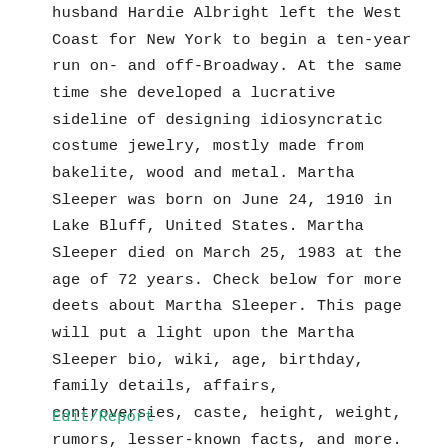husband Hardie Albright left the West Coast for New York to begin a ten-year run on- and off-Broadway. At the same time she developed a lucrative sideline of designing idiosyncratic costume jewelry, mostly made from bakelite, wood and metal. Martha Sleeper was born on June 24, 1910 in Lake Bluff, United States. Martha Sleeper died on March 25, 1983 at the age of 72 years. Check below for more deets about Martha Sleeper. This page will put a light upon the Martha Sleeper bio, wiki, age, birthday, family details, affairs, controversies, caste, height, weight, rumors, lesser-known facts, and more.
Edit/Report